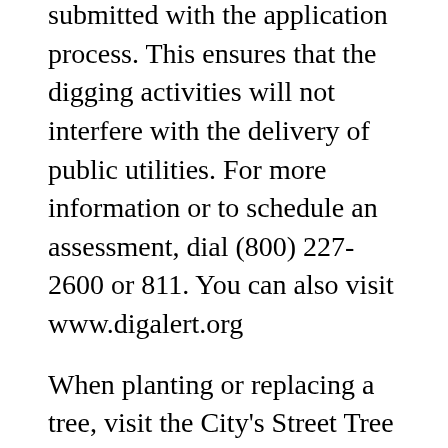submitted with the application process. This ensures that the digging activities will not interfere with the delivery of public utilities. For more information or to schedule an assessment, dial (800) 227-2600 or 811. You can also visit www.digalert.org
When planting or replacing a tree, visit the City's Street Tree Selection Guide at https://www.sandiego.gov/sites/default/files/street-tree-selection-guide.pdf to determine which tree species should be planted.
In the event of sidewalk damage from removal and replacement activities, the property owner is responsible for the repairs of such